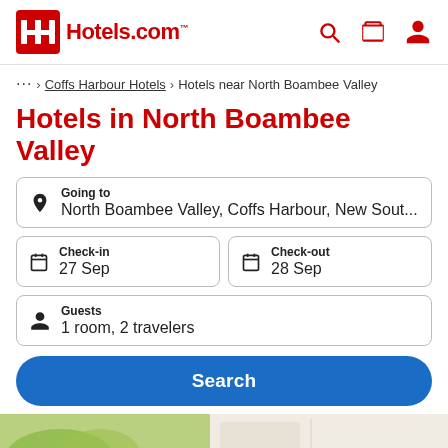[Figure (logo): Hotels.com logo with red H icon and red text]
... › Coffs Harbour Hotels › Hotels near North Boambee Valley
Hotels in North Boambee Valley
Going to
North Boambee Valley, Coffs Harbour, New Sout...
Check-in
27 Sep
Check-out
28 Sep
Guests
1 room, 2 travelers
Search
[Figure (photo): Bottom portion showing two hotel room photos — left with yellow flowers and greenery, right with beige wall]